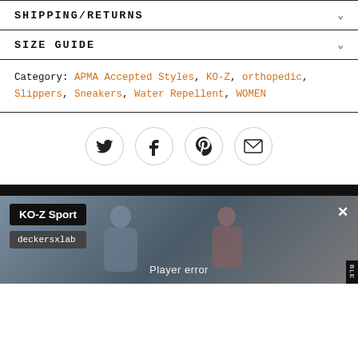SHIPPING/RETURNS
SIZE GUIDE
Category: APMA Accepted Styles, KO-Z, orthopedic, Slippers, Sneakers, Water Repellent, WOMEN
[Figure (infographic): Four circular social sharing buttons: Twitter bird icon, Facebook f icon, Pinterest p icon, Email envelope icon]
[Figure (screenshot): Video player area showing two people seated on couch with Player error message, KO-Z Sport title box, deckersxlab sub-label, close X button, and BLE tab on right edge]